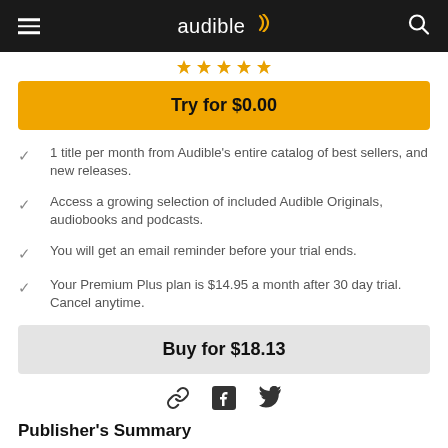audible
1 title per month from Audible's entire catalog of best sellers, and new releases.
Access a growing selection of included Audible Originals, audiobooks and podcasts.
You will get an email reminder before your trial ends.
Your Premium Plus plan is $14.95 a month after 30 day trial. Cancel anytime.
Publisher's Summary
The author of 45 New York Times best-selling novels, Sandra Brown is one of the most ...